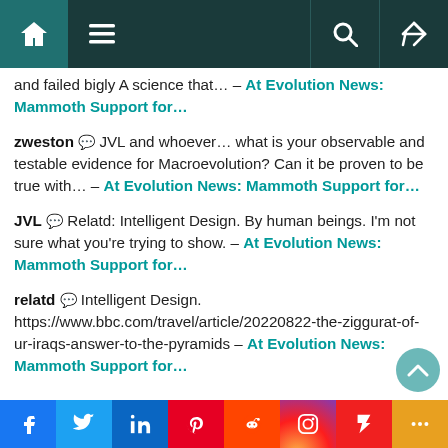Navigation bar with home, menu, search, and shuffle icons
and failed bigly A science that… – At Evolution News: Mammoth Support for…
zweston 💬 JVL and whoever… what is your observable and testable evidence for Macroevolution? Can it be proven to be true with… – At Evolution News: Mammoth Support for…
JVL 💬 Relatd: Intelligent Design. By human beings. I'm not sure what you're trying to show. – At Evolution News: Mammoth Support for…
relatd 💬 Intelligent Design. https://www.bbc.com/travel/article/20220822-the-ziggurat-of-ur-iraqs-answer-to-the-pyramids – At Evolution News: Mammoth Support for…
Social share bar: Facebook, Twitter, LinkedIn, Pinterest, Reddit, Instagram, Flipboard, More